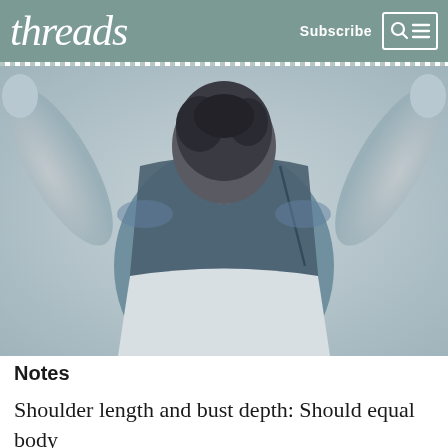threads  Subscribe
[Figure (photo): Back view of a person with short dark hair, arms raised above head, wearing a dark top and white garment around the waist/lower back, against a light grey background. Black and white / blue-tinted photo.]
Notes
Shoulder length and bust depth: Should equal body